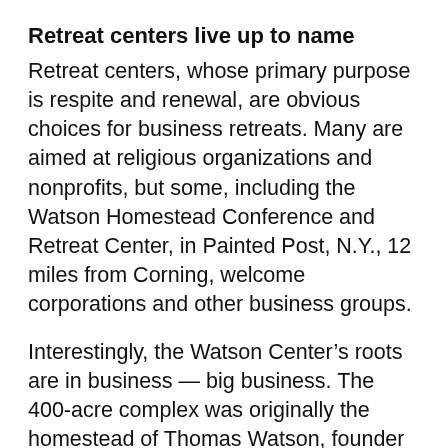Retreat centers live up to name
Retreat centers, whose primary purpose is respite and renewal, are obvious choices for business retreats. Many are aimed at religious organizations and nonprofits, but some, including the Watson Homestead Conference and Retreat Center, in Painted Post, N.Y., 12 miles from Corning, welcome corporations and other business groups.
Interestingly, the Watson Center’s roots are in business — big business. The 400-acre complex was originally the homestead of Thomas Watson, founder of IBM.
“Thomas Watson decided toward the end of his life that he wanted to dedicate his boyhood home as a center to help people and organizations develop the next generation of leaders,” said Mary Hickey, development and marketing